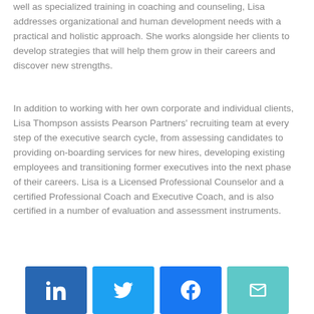well as specialized training in coaching and counseling, Lisa addresses organizational and human development needs with a practical and holistic approach. She works alongside her clients to develop strategies that will help them grow in their careers and discover new strengths.
In addition to working with her own corporate and individual clients, Lisa Thompson assists Pearson Partners' recruiting team at every step of the executive search cycle, from assessing candidates to providing on-boarding services for new hires, developing existing employees and transitioning former executives into the next phase of their careers. Lisa is a Licensed Professional Counselor and a certified Professional Coach and Executive Coach, and is also certified in a number of evaluation and assessment instruments.
[Figure (other): Social share buttons: LinkedIn (blue), Twitter (light blue), Facebook (blue), Email (teal/cyan)]